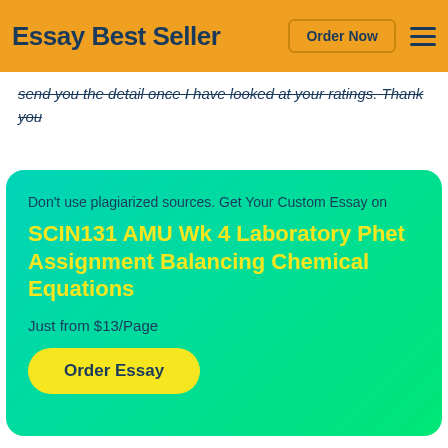Essay Best Seller  Order Now  ☰
send you the detail once I have looked at your ratings. Thank you
Don't use plagiarized sources. Get Your Custom Essay on
SCIN131 AMU Wk 4 Laboratory Phet Assignment Balancing Chemical Equations
Just from $13/Page
Order Essay